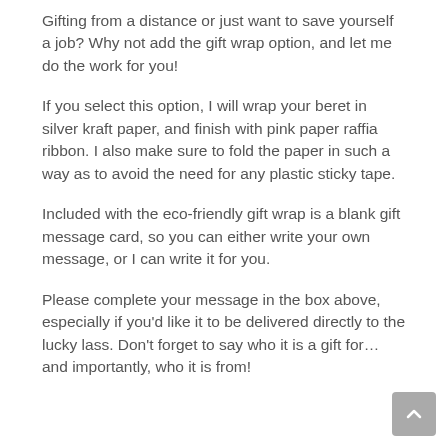Gifting from a distance or just want to save yourself a job? Why not add the gift wrap option, and let me do the work for you!
If you select this option, I will wrap your beret in silver kraft paper, and finish with pink paper raffia ribbon. I also make sure to fold the paper in such a way as to avoid the need for any plastic sticky tape.
Included with the eco-friendly gift wrap is a blank gift message card, so you can either write your own message, or I can write it for you.
Please complete your message in the box above, especially if you'd like it to be delivered directly to the lucky lass. Don't forget to say who it is a gift for… and importantly, who it is from!